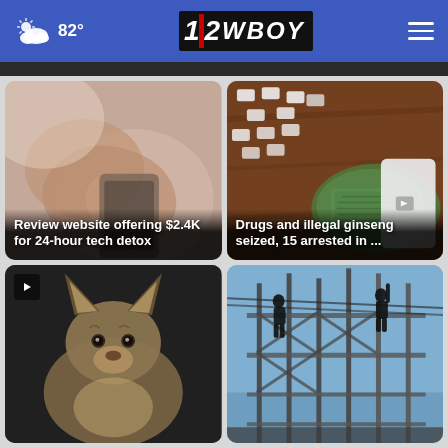82° | 12WBOY
[Figure (screenshot): News card: blurred hand holding smartphone, headline 'Review website offering $2.4K for 24-hour tech detox']
Review website offering $2.4K for 24-hour tech detox
[Figure (screenshot): News card: drugs, money and small packages on wooden table, headline 'Drugs and illegal ginseng seized, 15 arrested in ...']
Drugs and illegal ginseng seized, 15 arrested in ...
[Figure (photo): News card with play button: German Shepherd dog close-up]
[Figure (photo): News card: silhouettes of workers on scaffolding against blue sky]